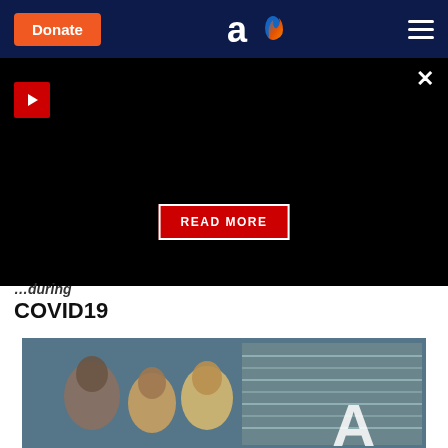Donate | Aish.com logo | Navigation menu
[Figure (screenshot): Black video/ad banner with red play button and READ MORE button]
...during COVID19
[Figure (photo): Group of children in front of stacked currency or financial imagery, with a large letter A visible]